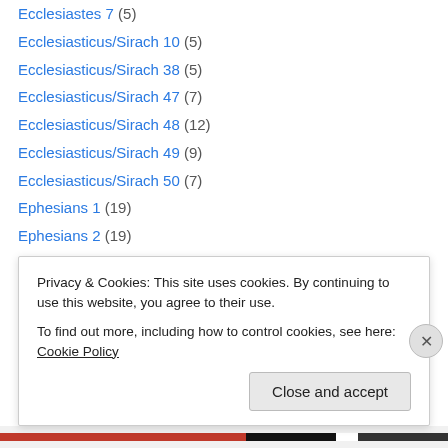Ecclesiastes 7 (5)
Ecclesiasticus/Sirach 10 (5)
Ecclesiasticus/Sirach 38 (5)
Ecclesiasticus/Sirach 47 (7)
Ecclesiasticus/Sirach 48 (12)
Ecclesiasticus/Sirach 49 (9)
Ecclesiasticus/Sirach 50 (7)
Ephesians 1 (19)
Ephesians 2 (19)
Ephesians 3 (13)
Ephesians 4 (32)
Ephesians 5 (28)
Ephesians 6 (15)
Privacy & Cookies: This site uses cookies. By continuing to use this website, you agree to their use. To find out more, including how to control cookies, see here: Cookie Policy